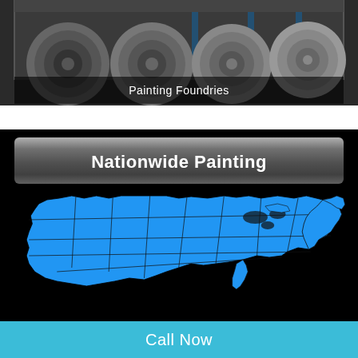[Figure (photo): Industrial foundry interior showing large metal coils/rolls stacked in a warehouse setting with steel framework visible in background. Caption reads 'Painting Foundries'.]
[Figure (map): Black background with a blue filled map of the contiguous United States showing state boundaries, under a banner reading 'Nationwide Painting'.]
Call Now